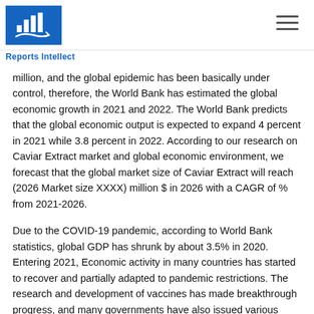[Figure (logo): Reports Intellect logo — blue square with white bar chart and hand icon]
Reports Intellect
million, and the global epidemic has been basically under control, therefore, the World Bank has estimated the global economic growth in 2021 and 2022. The World Bank predicts that the global economic output is expected to expand 4 percent in 2021 while 3.8 percent in 2022. According to our research on Caviar Extract market and global economic environment, we forecast that the global market size of Caviar Extract will reach (2026 Market size XXXX) million $ in 2026 with a CAGR of % from 2021-2026.
Due to the COVID-19 pandemic, according to World Bank statistics, global GDP has shrunk by about 3.5% in 2020. Entering 2021, Economic activity in many countries has started to recover and partially adapted to pandemic restrictions. The research and development of vaccines has made breakthrough progress, and many governments have also issued various policies to stimulate economic recovery,